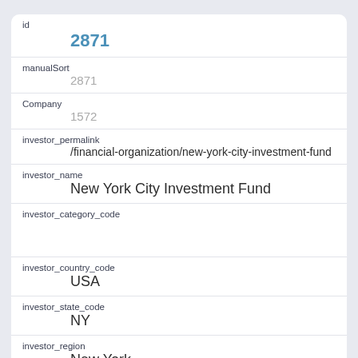id
2871
manualSort
2871
Company
1572
investor_permalink
/financial-organization/new-york-city-investment-fund
investor_name
New York City Investment Fund
investor_category_code
investor_country_code
USA
investor_state_code
NY
investor_region
New York
investor_city